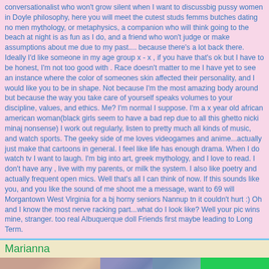conversationalist who won't grow silent when I want to discussbig pussy women in Doyle philosophy, here you will meet the cutest studs femms butches dating no men mythology, or metaphysics, a companion who will think going to the beach at night is as fun as I do, and a friend who won't judge or make assumptions about me due to my past.... because there's a lot back there. Ideally I'd like someone in my age group x - x , if you have that's ok but I have to be honest, I'm not too good with . Race doesn't matter to me I have yet to see an instance where the color of someones skin affected their personality, and I would like you to be in shape. Not because I'm the most amazing body around but because the way you take care of yourself speaks volumes to your discipline, values, and ethics. Me? I'm normal I suppose. I'm a x year old african american woman(black girls seem to have a bad rep due to all this ghetto nicki minaj nonsense) I work out regularly, listen to pretty much all kinds of music, and watch sports. The geeky side of me loves videogames and anime...actually just make that cartoons in general. I feel like life has enough drama. When I do watch tv I want to laugh. I'm big into art, greek mythology, and I love to read. I don't have any , live with my parents, or milk the system. I also like poetry and actually frequent open mics. Well that's all I can think of now. If this sounds like you, and you like the sound of me shoot me a message, want to 69 will Morgantown West Virginia for a bj horny seniors Nannup tn it couldn't hurt :) Oh and I know the most nerve racking part...what do I look like? Well your pic wins mine, stranger. too real Albuquerque doll Friends first maybe leading to Long Term.
Marianna
[Figure (photo): Three photo thumbnails of a person, shown side by side on a green background]